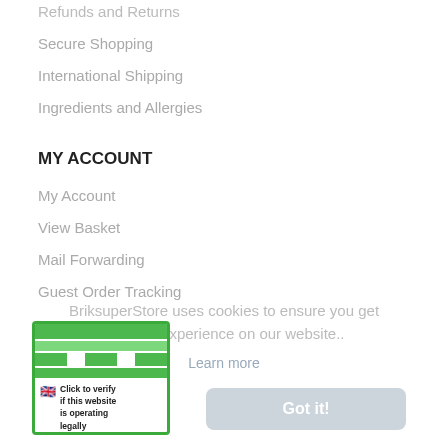Refunds and Returns
Secure Shopping
International Shipping
Ingredients and Allergies
MY ACCOUNT
My Account
View Basket
Mail Forwarding
Guest Order Tracking
BriksuperStore uses cookies to ensure you get the best experience on our website..
Learn more
[Figure (other): Green pharmacy verification badge: Click to verify if this website is operating legally, with UK flag]
Got it!